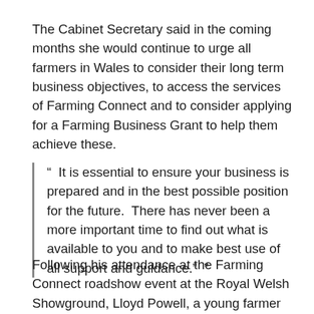The Cabinet Secretary said in the coming months she would continue to urge all farmers in Wales to consider their long term business objectives, to access the services of Farming Connect and to consider applying for a Farming Business Grant to help them achieve these.
" It is essential to ensure your business is prepared and in the best possible position for the future.  There has never been a more important time to find out what is available to you and to make best use of all support and guidance."  "
Following his attendance at the Farming Connect roadshow event at the Royal Welsh Showground, Lloyd Powell, a young farmer who farms with his family at Clanmiholi, Newtown, said: